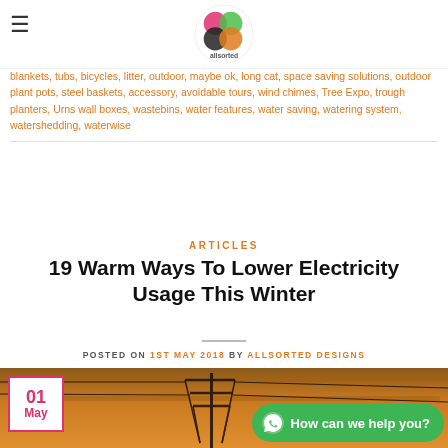Allsorted Designs logo and navigation
blankets, tubs, bicycles, litter, outdoor, maybe ok, long cat, space saving solutions, outdoor plant pots, steel baskets, accessory, avoidable tours, wind chimes, Tree Expo, trough planters, Urns wall boxes, wastebins, water features, water saving, watering system, watershedding, waterwise
ARTICLES
19 Warm Ways To Lower Electricity Usage This Winter
POSTED ON 1ST MAY 2018 BY ALLSORTED DESIGNS
[Figure (photo): Photo of an electricity pylon/transmission tower at sunset with orange sky. Date badge showing 01 May in pink/red border overlay on left. WhatsApp help button overlay on bottom right.]